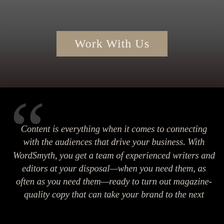Work With Us
Content is everything when it comes to connecting with the audiences that drive your business. With WordSmyth, you get a team of experienced writers and editors at your disposal—when you need them, as often as you need them—ready to turn out magazine-quality copy that can take your brand to the next